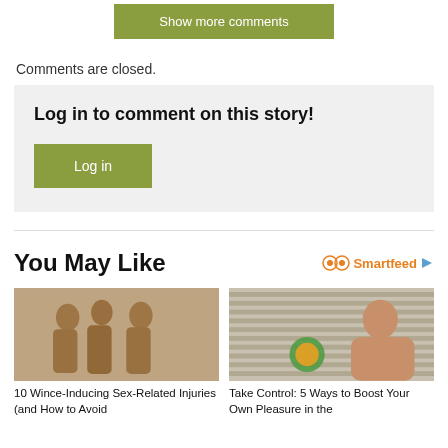Show more comments
Comments are closed.
Log in to comment on this story!
Log in
You May Like
Smartfeed
[Figure (photo): Stone temple sculpture showing figures in Kamasutra-style poses]
10 Wince-Inducing Sex-Related Injuries (and How to Avoid
[Figure (photo): Woman sitting by window with blinds]
Take Control: 5 Ways to Boost Your Own Pleasure in the